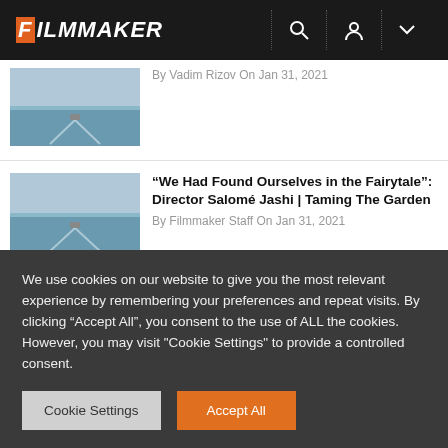FILMMAKER
[Figure (screenshot): Thumbnail image of sea/ocean with a distant boat leaving a wake, sky above]
By Vadim Rizov On Jan 31, 2021
[Figure (screenshot): Thumbnail image of sea/ocean with a distant boat leaving a wake, sky above]
“We Had Found Ourselves in the Fairytale”: Director Salomé Jashi | Taming The Garden
By Filmmaker Staff On Jan 31, 2021
[Figure (screenshot): Thumbnail image of sea/ocean with a distant structure, sky above]
“At Times Calm, at Times Violent”: DPs Salomé Jashi and Goga Devdariani on Taming The Garden
By Filmmaker Staff On Jan 31, 2021
We use cookies on our website to give you the most relevant experience by remembering your preferences and repeat visits. By clicking “Accept All”, you consent to the use of ALL the cookies. However, you may visit "Cookie Settings" to provide a controlled consent.